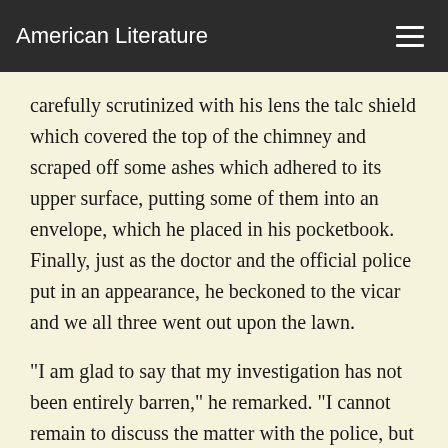American Literature
carefully scrutinized with his lens the talc shield which covered the top of the chimney and scraped off some ashes which adhered to its upper surface, putting some of them into an envelope, which he placed in his pocketbook. Finally, just as the doctor and the official police put in an appearance, he beckoned to the vicar and we all three went out upon the lawn.
"I am glad to say that my investigation has not been entirely barren," he remarked. "I cannot remain to discuss the matter with the police, but I should be exceedingly obliged, Mr. Roundhay, if you would give the inspector my compliments and direct his